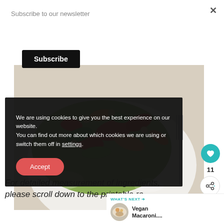Subscribe to our newsletter
Subscribe
[Figure (photo): A colorful salad dish with roasted vegetables including red peppers, carrots, greens and nuts on a white plate with a fork visible on the right side.]
We are using cookies to give you the best experience on our website.
You can find out more about which cookies we are using or switch them off in settings.
Accept
11
For detailed measurement of ingredients, please scroll down to the printable re
WHAT'S NEXT → Vegan Macaroni....